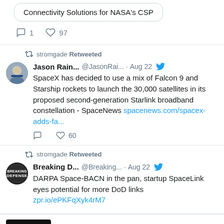Connectivity Solutions for NASA's CSP
comment 1   heart 97
stromgade Retweeted
Jason Rain... @JasonRai... · Aug 22
SpaceX has decided to use a mix of Falcon 9 and Starship rockets to launch the 30,000 satellites in its proposed second-generation Starlink broadband constellation - SpaceNews spacenews.com/spacex-adds-fa...
heart 60
stromgade Retweeted
Breaking D... @Breaking... · Aug 22
DARPA Space-BACN in the pan, startup SpaceLink eyes potential for more DoD links zpr.io/ePKFqXyk4rM7